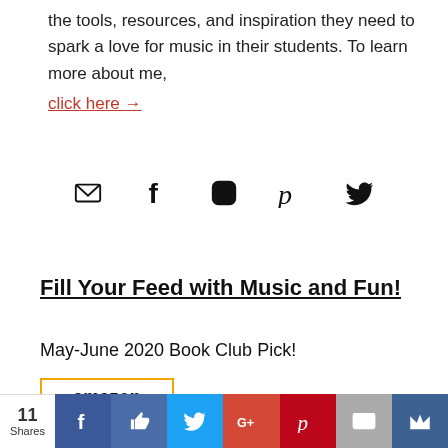the tools, resources, and inspiration they need to spark a love for music in their students. To learn more about me, click here →
[Figure (infographic): Row of social media icons: email envelope, Facebook f, Instagram camera, Pinterest p, Twitter bird]
Fill Your Feed with Music and Fun!
May-June 2020 Book Club Pick!
[Figure (screenshot): Amazon logo with orange arrow and a faint horizontal line beneath, inside an orange-bordered box]
[Figure (infographic): Social share bar at bottom: 11 Shares, Facebook, Like, Twitter, Google+, Pinterest, Mail, crown icon buttons]